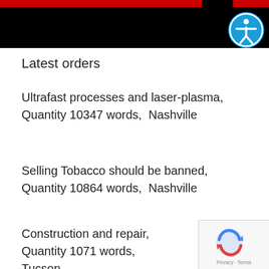[Figure (screenshot): Website header banner with red and black background, partial navigation visible]
Latest orders
Ultrafast processes and laser-plasma, Quantity 10347 words,  Nashville
Selling Tobacco should be banned, Quantity 10864 words,  Nashville
Construction and repair, Quantity 1071 words,  Tucson